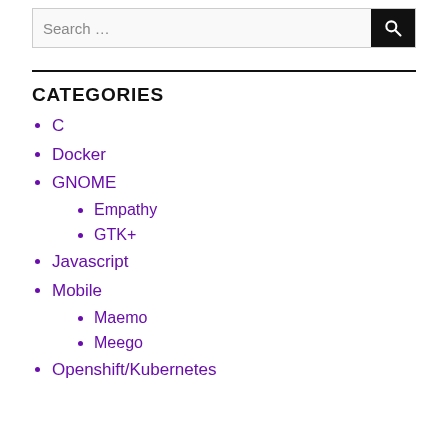Search ...
CATEGORIES
C
Docker
GNOME
Empathy
GTK+
Javascript
Mobile
Maemo
Meego
Openshift/Kubernetes